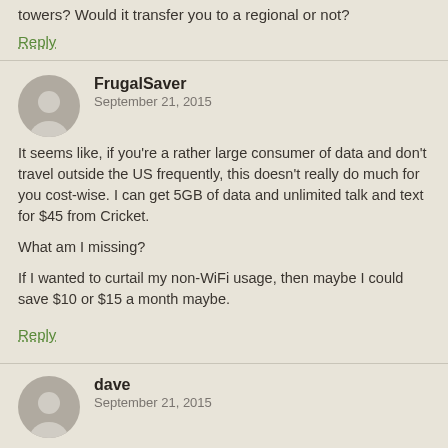towers? Would it transfer you to a regional or not?
Reply
FrugalSaver
September 21, 2015
It seems like, if you're a rather large consumer of data and don't travel outside the US frequently, this doesn't really do much for you cost-wise. I can get 5GB of data and unlimited talk and text for $45 from Cricket.

What am I missing?

If I wanted to curtail my non-WiFi usage, then maybe I could save $10 or $15 a month maybe.
Reply
dave
September 21, 2015
This could be one of those fake blogs like when MMM pretending he liked big SUV's. No way a real moustachian would buy a top of the line cell phone.
Reply